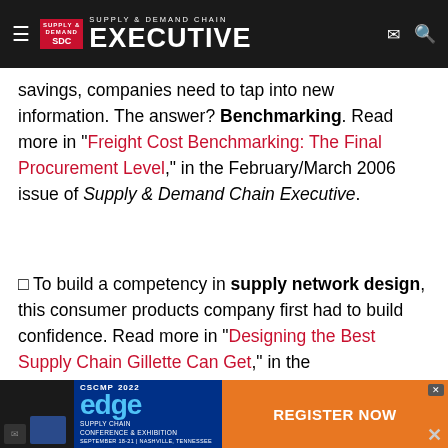SDC Supply & Demand Chain Executive
savings, companies need to tap into new information. The answer? Benchmarking. Read more in "Freight Cost Benchmarking: The Final Procurement Level," in the February/March 2006 issue of Supply & Demand Chain Executive.
☐ To build a competency in supply network design, this consumer products company first had to build confidence. Read more in "Designing the Best Supply Chain Gillette Can Get," in the February/March 2006 issue of Supply & Demand Chain Executive.
[Figure (other): CSCMP 2022 Edge Supply Chain Conference & Exhibition advertisement banner with Register Now call to action]